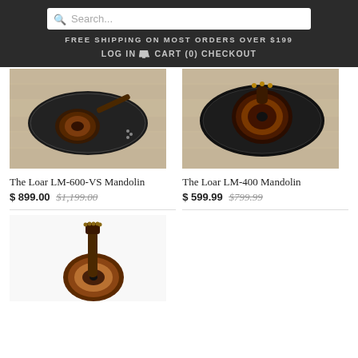FREE SHIPPING ON MOST ORDERS OVER $199
LOG IN  CART (0)  CHECKOUT
[Figure (photo): The Loar LM-600-VS Mandolin with black hardshell case on wood floor]
[Figure (photo): The Loar LM-400 Mandolin inside open black hardshell case on wood floor]
The Loar LM-600-VS Mandolin
$ 899.00  $1,199.00
The Loar LM-400 Mandolin
$ 599.99  $799.99
[Figure (photo): Mandolin instrument shown alone on white background, sunburst finish]